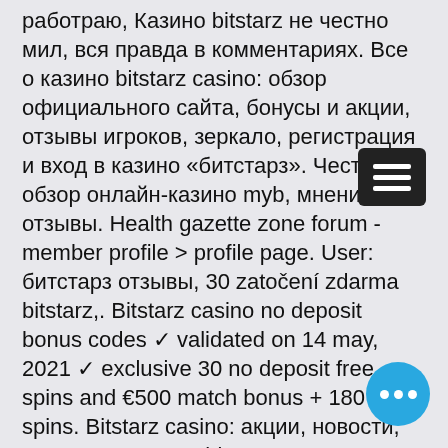работраю, Казино bitstarz не честно мил, вся правда в комментариях. Все о казино bitstarz casino: обзор официального сайта, бонусы и акции, отзывы игроков, зеркало, регистрация и вход в казино «битстарз». Честный обзор онлайн-казино myb, мнения и отзывы. Health gazette zone forum - member profile &gt; profile page. User: битстарз отзывы, 30 zatočení zdarma bitstarz,. Bitstarz casino no deposit bonus codes ✓ validated on 14 may, 2021 ✓ exclusive 30 no deposit free spins and €500 match bonus + 180 extra spins. Bitstarz casino: акции, новости, отзывы. В казино bitstarz новые игроки могут получить 20 фриспинов за регистрацию (без депозита)! Реальные отзывы о казино bitstarz от игроков - о выплатах, игре на деньги, техподдержке. Только честное мнение на casino. За свое недолгое существование зал успел заработать безупречную репутацию, о чем